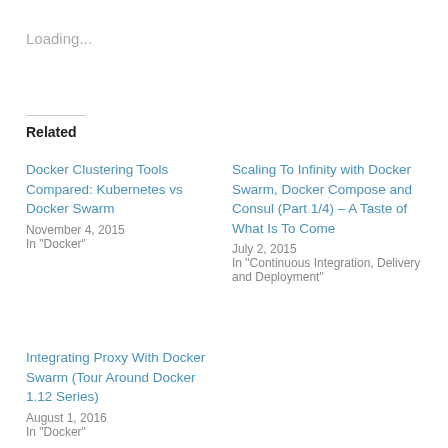Loading...
Related
Docker Clustering Tools Compared: Kubernetes vs Docker Swarm
November 4, 2015
In "Docker"
Scaling To Infinity with Docker Swarm, Docker Compose and Consul (Part 1/4) – A Taste of What Is To Come
July 2, 2015
In "Continuous Integration, Delivery and Deployment"
Integrating Proxy With Docker Swarm (Tour Around Docker 1.12 Series)
August 1, 2016
In "Docker"